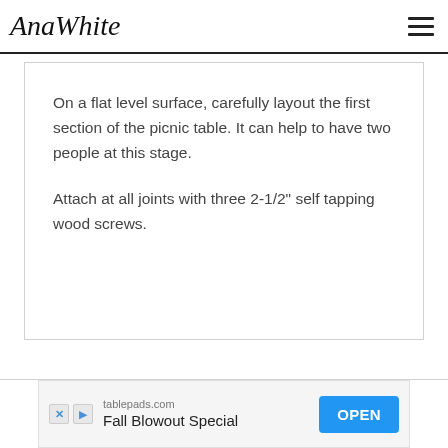AnaWhite
On a flat level surface, carefully layout the first section of the picnic table.  It can help to have two people at this stage.

Attach at all joints with three 2-1/2" self tapping wood screws.
[Figure (infographic): Advertisement banner for tablepads.com with text 'Fall Blowout Special' and an OPEN button]